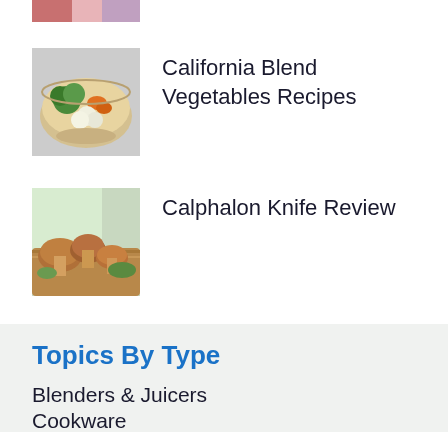[Figure (photo): Partial view of a food photo at top of page, cropped]
[Figure (photo): Bowl of California blend vegetables including broccoli, carrots, and cauliflower]
California Blend Vegetables Recipes
[Figure (photo): Mushrooms on a wooden cutting board with greenery in the background]
Calphalon Knife Review
Topics By Type
Blenders & Juicers
Cookware